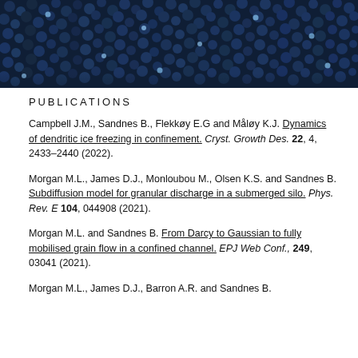[Figure (photo): Close-up photo of dark blue granular beads/particles filling the frame, with light reflections visible on some beads.]
PUBLICATIONS
Campbell J.M., Sandnes B., Flekkøy E.G and Måløy K.J. Dynamics of dendritic ice freezing in confinement. Cryst. Growth Des. 22, 4, 2433–2440 (2022).
Morgan M.L., James D.J., Monloubou M., Olsen K.S. and Sandnes B. Subdiffusion model for granular discharge in a submerged silo. Phys. Rev. E 104, 044908 (2021).
Morgan M.L. and Sandnes B. From Darcy to Gaussian to fully mobilised grain flow in a confined channel. EPJ Web Conf., 249, 03041 (2021).
Morgan M.L., James D.J., Barron A.R. and Sandnes B.